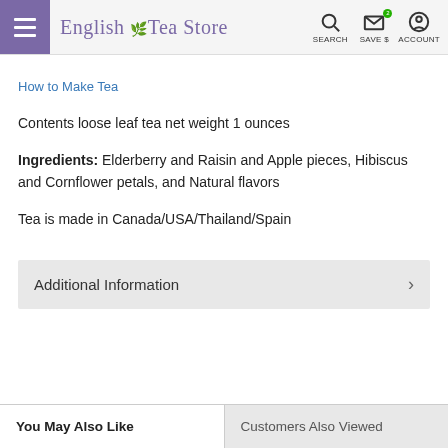English Tea Store | SEARCH | SAVE $ | ACCOUNT
How to Make Tea
Contents loose leaf tea net weight 1 ounces
Ingredients: Elderberry and Raisin and Apple pieces, Hibiscus and Cornflower petals, and Natural flavors
Tea is made in Canada/USA/Thailand/Spain
Additional Information
You May Also Like
Customers Also Viewed